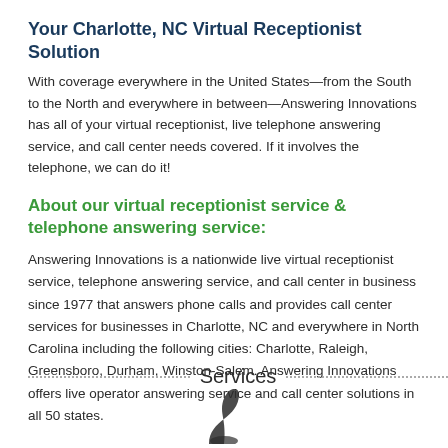Your Charlotte, NC Virtual Receptionist Solution
With coverage everywhere in the United States—from the South to the North and everywhere in between—Answering Innovations has all of your virtual receptionist, live telephone answering service, and call center needs covered. If it involves the telephone, we can do it!
About our virtual receptionist service & telephone answering service:
Answering Innovations is a nationwide live virtual receptionist service, telephone answering service, and call center in business since 1977 that answers phone calls and provides call center services for businesses in Charlotte, NC and everywhere in North Carolina including the following cities: Charlotte, Raleigh, Greensboro, Durham, Winston-Salem. Answering Innovations offers live operator answering service and call center solutions in all 50 states.
Services
[Figure (illustration): Partial phone icon visible at the bottom of the page]